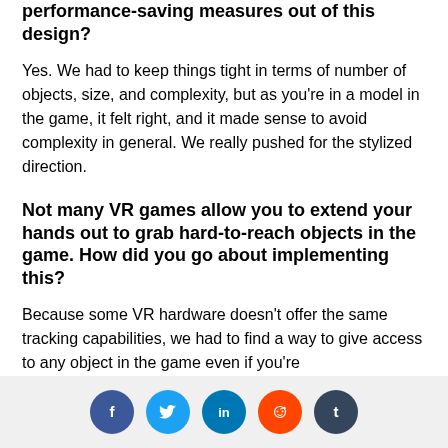performance-saving measures out of this design?
Yes. We had to keep things tight in terms of number of objects, size, and complexity, but as you’re in a model in the game, it felt right, and it made sense to avoid complexity in general. We really pushed for the stylized direction.
Not many VR games allow you to extend your hands out to grab hard-to-reach objects in the game. How did you go about implementing this?
Because some VR hardware doesn’t offer the same tracking capabilities, we had to find a way to give access to any object in the game even if you’re
Social share buttons: Facebook, Twitter, LinkedIn, Reddit, Tumblr